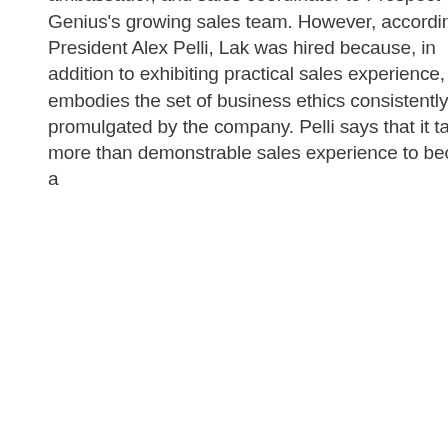ambassador, and sales coordinator to Prospect Genius's growing sales team. However, according to President Alex Pelli, Lak was hired because, in addition to exhibiting practical sales experience, she embodies the set of business ethics consistently promulgated by the company. Pelli says that it takes more than demonstrable sales experience to become a